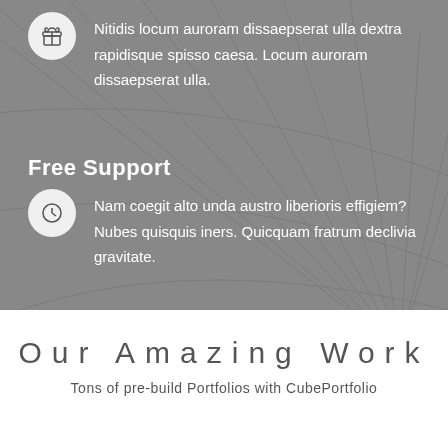Nitidis locum auroram dissaepserat ulla dextra rapidisque spisso caesa. Locum auroram dissaepserat ulla.
Free Support
Nam coegit alto unda austro liberioris effigiem? Nubes quisquis iners. Quicquam fratrum declivia gravitate.
Our Amazing Work
Tons of pre-build Portfolios with CubePortfolio